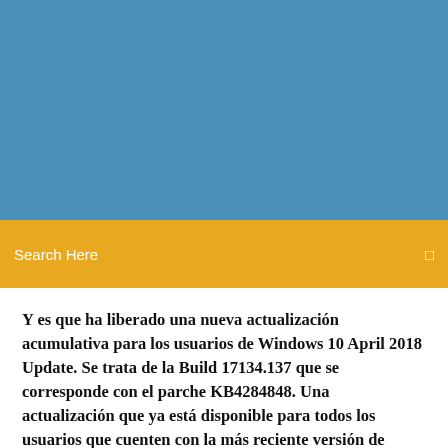[Figure (screenshot): Blue gradient header background image area]
Search Here
Y es que ha liberado una nueva actualización acumulativa para los usuarios de Windows 10 April 2018 Update. Se trata de la Build 17134.137 que se corresponde con el parche KB4284848. Una actualización que ya está disponible para todos los usuarios que cuenten con la más reciente versión de Windows (1803) y que llega centrada en solucionar